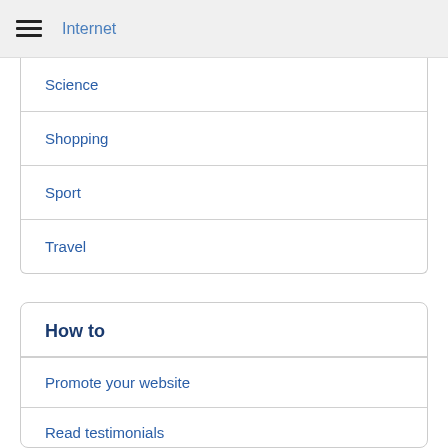Internet
Science
Shopping
Sport
Travel
How to
Promote your website
Read testimonials
Spread the word
Join our affiliate program
Support charities
Contact us